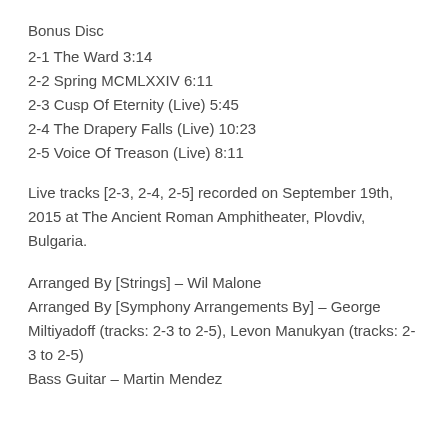Bonus Disc
2-1 The Ward 3:14
2-2 Spring MCMLXXIV 6:11
2-3 Cusp Of Eternity (Live) 5:45
2-4 The Drapery Falls (Live) 10:23
2-5 Voice Of Treason (Live) 8:11
Live tracks [2-3, 2-4, 2-5] recorded on September 19th, 2015 at The Ancient Roman Amphitheater, Plovdiv, Bulgaria.
Arranged By [Strings] – Wil Malone
Arranged By [Symphony Arrangements By] – George Miltiyadoff (tracks: 2-3 to 2-5), Levon Manukyan (tracks: 2-3 to 2-5)
Bass Guitar – Martin Mendez